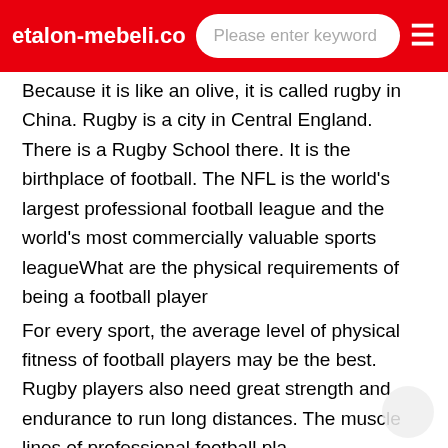etalon-mebeli.co   Please enter keyword
Because it is like an olive, it is called rugby in China. Rugby is a city in Central England. There is a Rugby School there. It is the birthplace of football. The NFL is the world's largest professional football league and the world's most commercially valuable sports leagueWhat are the physical requirements of being a football player
For every sport, the average level of physical fitness of football players may be the best. Rugby players also need great strength and endurance to run long distances. The muscle lines of professional football pla
yers can be said to be comparable to those of basketball players like James and Howard. In collective ball games, yesWhich team is the NFO
You must be talking about NFL. NFL refers to the major league of American professional football. The National Rugby